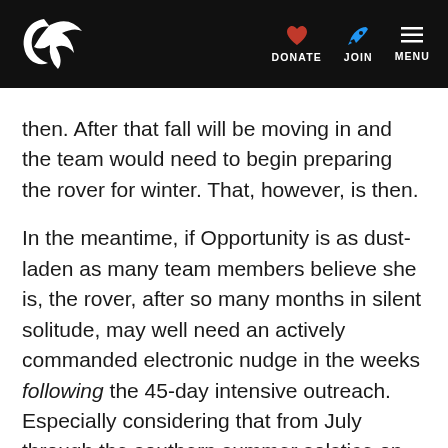Planetary Society — DONATE JOIN MENU
then. After that fall will be moving in and the team would need to begin preparing the rover for winter. That, however, is then.
In the meantime, if Opportunity is as dust-laden as many team members believe she is, the rover, after so many months in silent solitude, may well need an actively commanded electronic nudge in the weeks following the 45-day intensive outreach. Especially considering that from July through the southern summer solstice on October 16th the